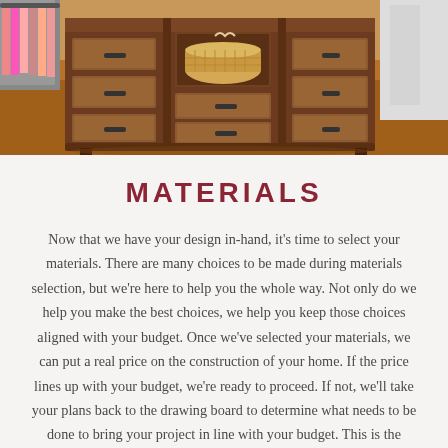[Figure (photo): Photo of a rustic wooden dresser/cabinet with multiple drawers and compartments, one holding a wicker basket, placed on a hardwood floor with clothes visible in the background.]
MATERIALS
Now that we have your design in-hand, it's time to select your materials. There are many choices to be made during materials selection, but we're here to help you the whole way. Not only do we help you make the best choices, we help you keep those choices aligned with your budget. Once we've selected your materials, we can put a real price on the construction of your home. If the price lines up with your budget, we're ready to proceed. If not, we'll take your plans back to the drawing board to determine what needs to be done to bring your project in line with your budget. This is the beauty of Timber Ridge Builders. We don't just